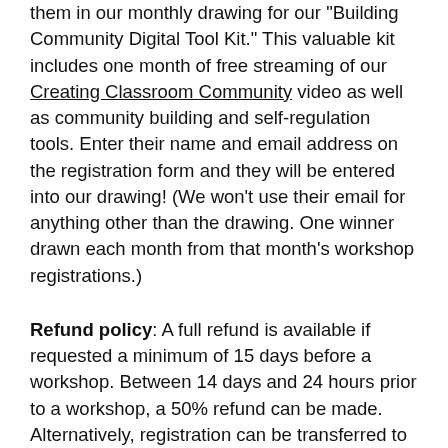them in our monthly drawing for our "Building Community Digital Tool Kit." This valuable kit includes one month of free streaming of our Creating Classroom Community video as well as community building and self-regulation tools. Enter their name and email address on the registration form and they will be entered into our drawing! (We won't use their email for anything other than the drawing. One winner drawn each month from that month's workshop registrations.)
Refund policy: A full refund is available if requested a minimum of 15 days before a workshop. Between 14 days and 24 hours prior to a workshop, a 50% refund can be made. Alternatively, registration can be transferred to another individual or to a later workshop in the same year if this is requested at least 24 hours prior to the workshop. Refunds are not available after transfers. No-shows are charged the full fee and are not eligible for a refund.